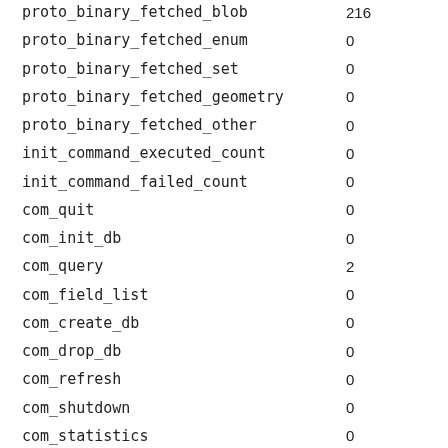| name | value |
| --- | --- |
| proto_binary_fetched_blob | 216 |
| proto_binary_fetched_enum | 0 |
| proto_binary_fetched_set | 0 |
| proto_binary_fetched_geometry | 0 |
| proto_binary_fetched_other | 0 |
| init_command_executed_count | 0 |
| init_command_failed_count | 0 |
| com_quit | 0 |
| com_init_db | 0 |
| com_query | 2 |
| com_field_list | 0 |
| com_create_db | 0 |
| com_drop_db | 0 |
| com_refresh | 0 |
| com_shutdown | 0 |
| com_statistics | 0 |
| com_process_info | 0 |
| com_connect | 0 |
| com_process_kill | 0 |
| com_debug | 0 |